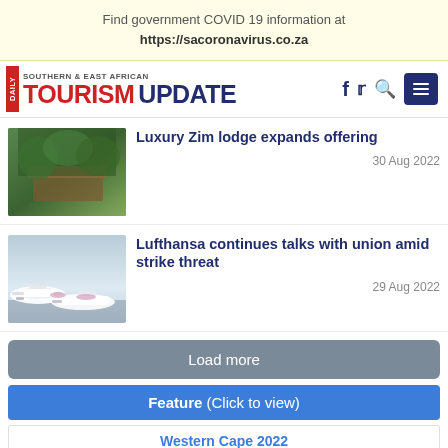Find government COVID 19 information at https://sacoronavirus.co.za
[Figure (logo): Daily Southern & East African Tourism Update logo with social icons (Facebook, Twitter, Search, Menu)]
[Figure (photo): Aerial view of a luxury lodge among trees]
Luxury Zim lodge expands offering
30 Aug 2022
[Figure (photo): Eurowings/Lufthansa aircraft on airport tarmac]
Lufthansa continues talks with union amid strike threat
29 Aug 2022
Load more
Feature (Click to view)
Western Cape 2022